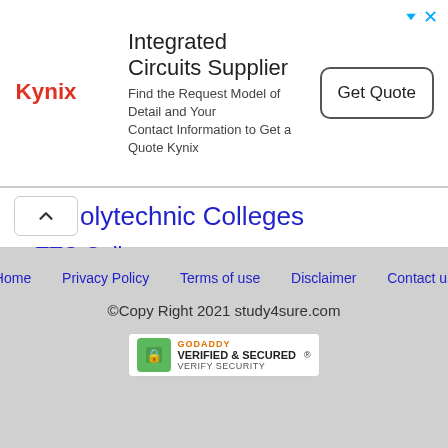[Figure (other): Kynix advertisement banner: Integrated Circuits Supplier with Get Quote button]
Polytechnic Colleges
TTC Colleges
Pincodes of India (110001 to 855117)
List of Villages in India
List of Banks in India
KTet Sample Questions
KTet Study Notes
Home  Privacy Policy  Terms of use  Disclaimer  Contact us
©Copy Right 2021 study4sure.com
GODADDY VERIFIED & SECURED VERIFY SECURITY